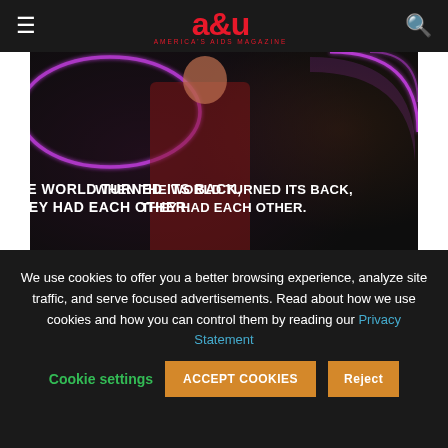a&u America's AIDS Magazine
[Figure (photo): HBO Max promotional image for 'It's a Sin' limited series. Shows a person in a red shirt against a dark background with neon pink lighting. Text overlay reads: 'WHEN THE WORLD TURNED ITS BACK, THEY HAD EACH OTHER.' and 'NEW LIMITED SERIES STREAMING FEB 18 | HBO max']
t one point during the British mini-series, It's a Sin, a young gay man, in the early days of the AIDS
We use cookies to offer you a better browsing experience, analyze site traffic, and serve focused advertisements. Read about how we use cookies and how you can control them by reading our Privacy Statement
Cookie settings
ACCEPT COOKIES
Reject